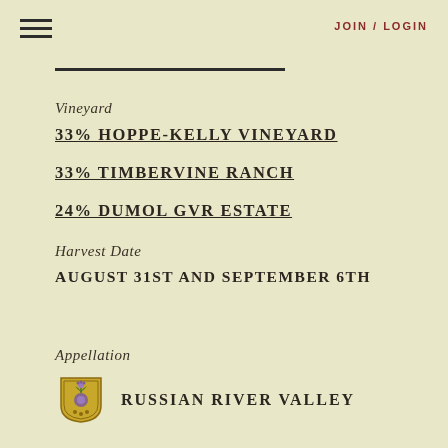JOIN / LOGIN
33% HOPPE-KELLY VINEYARD
33% TIMBERVINE RANCH
24% DUMOL GVR ESTATE
Harvest Date
AUGUST 31ST AND SEPTEMBER 6TH
Appellation
RUSSIAN RIVER VALLEY